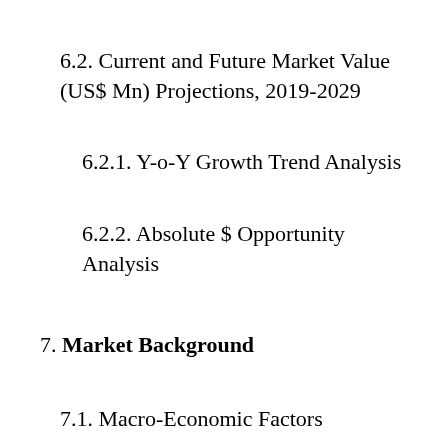6.2. Current and Future Market Value (US$ Mn) Projections, 2019-2029
6.2.1. Y-o-Y Growth Trend Analysis
6.2.2. Absolute $ Opportunity Analysis
7. Market Background
7.1. Macro-Economic Factors
7.1.1. Global GDP Growth Outlook